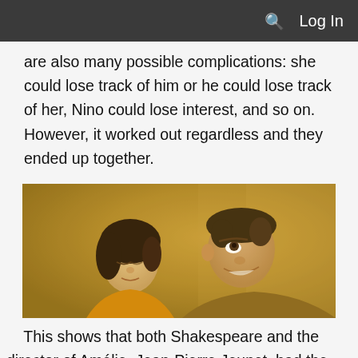Log In
are also many possible complications: she could lose track of him or he could lose track of her, Nino could lose interest, and so on. However, it worked out regardless and they ended up together.
[Figure (photo): Still from the film Amélie showing a woman and a man together, both looking upward, with warm golden/yellow tones.]
This shows that both Shakespeare and the director of Amélie, Jean-Pierre Jeunet, had the same idea: they wanted